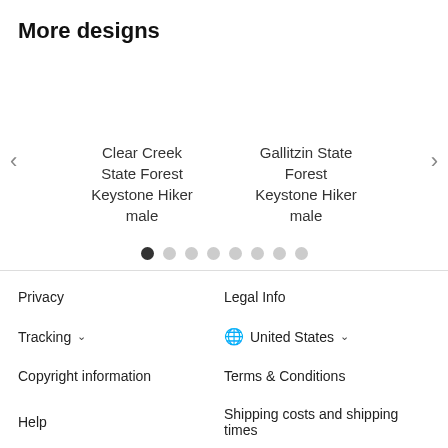More designs
[Figure (screenshot): Carousel showing two product designs: 'Clear Creek State Forest Keystone Hiker male' and 'Gallitzin State Forest Keystone Hiker male', with navigation arrows and pagination dots (8 dots, first active).]
Privacy
Legal Info
Tracking ∨
🌐 United States ∨
Copyright information
Terms & Conditions
Help
Shipping costs and shipping times